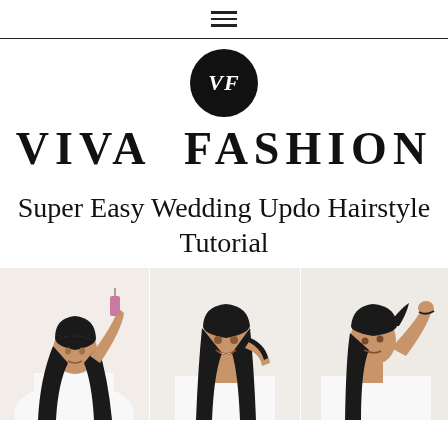≡
[Figure (logo): Viva Fashion logo: black circle with white VF letters, and VIVA FASHION brand name in large serif capitals below]
Super Easy Wedding Updo Hairstyle Tutorial
[Figure (photo): Three side-by-side photos of a woman demonstrating a wedding updo hairstyle tutorial: left photo shows woman brushing her dark hair from above, center photo shows woman smiling and holding straight dark hair, right photo shows woman styling her hair into an updo]